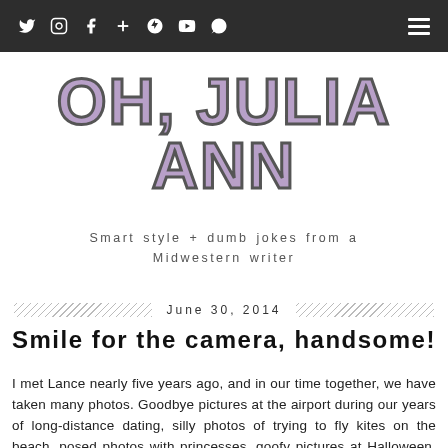Navigation bar with social icons: Twitter, Instagram, Facebook, Google+, Pinterest, YouTube, Snapchat; hamburger menu
OH, JULIA ANN
Smart style + dumb jokes from a Midwestern writer
June 30, 2014
Smile for the camera, handsome!
I met Lance nearly five years ago, and in our time together, we have taken many photos. Goodbye pictures at the airport during our years of long-distance dating, silly photos of trying to fly kites on the beach, posed photos with princesses, goofy pictures at Halloween, family photos at the holidays—we've run the snapshot gamut.